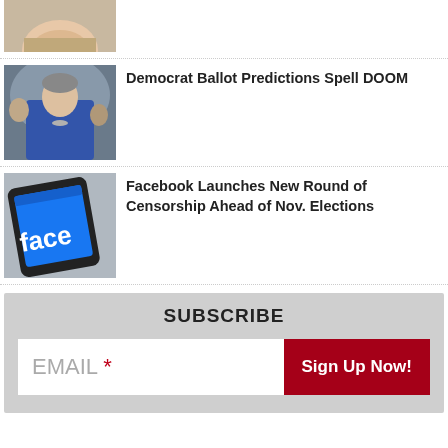[Figure (photo): Partial top of page article - cropped photo of a person's face (chin/lips visible)]
[Figure (photo): Photo of a woman in a blue jacket sitting in what appears to be a congressional setting]
Democrat Ballot Predictions Spell DOOM
[Figure (photo): Photo of a smartphone showing the Facebook app on screen]
Facebook Launches New Round of Censorship Ahead of Nov. Elections
SUBSCRIBE
EMAIL * Sign Up Now!